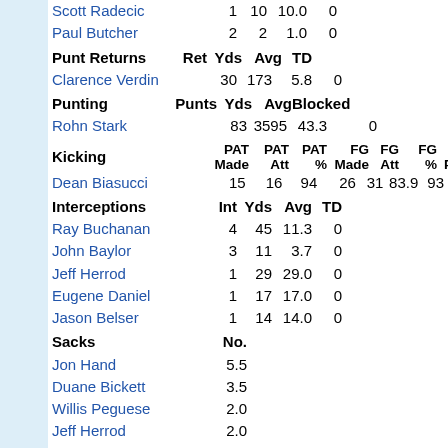| Player | No. |  |  |  |
| --- | --- | --- | --- | --- |
| Scott Radecic | 1 | 10 | 10.0 | 0 |
| Paul Butcher | 2 | 2 | 1.0 | 0 |
| Punt Returns | Ret | Yds | Avg | TD |
| --- | --- | --- | --- | --- |
| Clarence Verdin | 30 | 173 | 5.8 | 0 |
| Punting | Punts | Yds | Avg | Blocked |
| --- | --- | --- | --- | --- |
| Rohn Stark | 83 | 3595 | 43.3 | 0 |
| Kicking | PAT Made | PAT Att | PAT % | FG Made | FG Att | FG % | Pts |
| --- | --- | --- | --- | --- | --- | --- | --- |
| Dean Biasucci | 15 | 16 | 94 | 26 | 31 | 83.9 | 93 |
| Interceptions | Int | Yds | Avg | TD |
| --- | --- | --- | --- | --- |
| Ray Buchanan | 4 | 45 | 11.3 | 0 |
| John Baylor | 3 | 11 | 3.7 | 0 |
| Jeff Herrod | 1 | 29 | 29.0 | 0 |
| Eugene Daniel | 1 | 17 | 17.0 | 0 |
| Jason Belser | 1 | 14 | 14.0 | 0 |
| Sacks | No. |
| --- | --- |
| Jon Hand | 5.5 |
| Duane Bickett | 3.5 |
| Willis Peguese | 2.0 |
| Jeff Herrod | 2.0 |
| Skip McClendon | 1.5 |